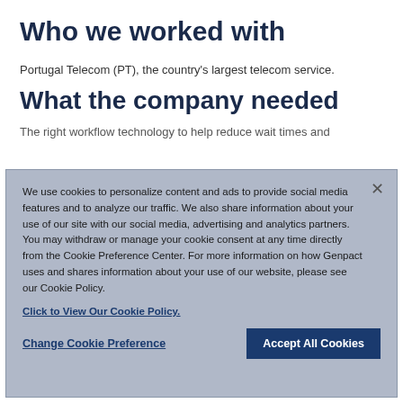Who we worked with
Portugal Telecom (PT), the country's largest telecom service.
What the company needed
The right workflow technology to help reduce wait times and
We use cookies to personalize content and ads to provide social media features and to analyze our traffic. We also share information about your use of our site with our social media, advertising and analytics partners. You may withdraw or manage your cookie consent at any time directly from the Cookie Preference Center. For more information on how Genpact uses and shares information about your use of our website, please see our Cookie Policy.
Click to View Our Cookie Policy.
Change Cookie Preference
Accept All Cookies